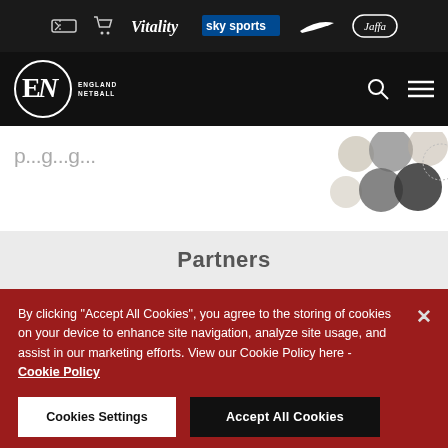Sponsor bar with icons: ticket, cart, Vitality, sky sports, Nike swoosh, Jaffa
[Figure (logo): England Netball navigation bar with EN logo circle, search icon, and hamburger menu]
p...g...g...g (partial hero heading text, clipped)
[Figure (illustration): Decorative overlapping circles in grey, dark grey, and beige tones on white background]
Partners
By clicking "Accept All Cookies", you agree to the storing of cookies on your device to enhance site navigation, analyze site usage, and assist in our marketing efforts. View our Cookie Policy here - Cookie Policy
Cookies Settings  Accept All Cookies